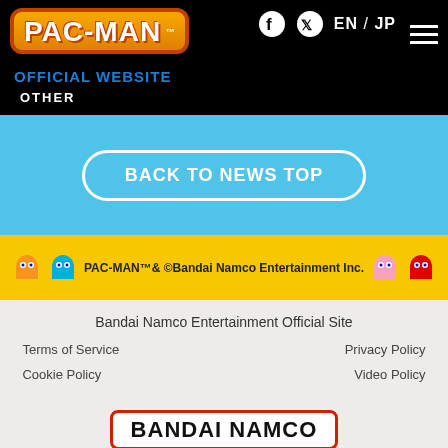PAC-MAN OFFICIAL WEBSITE — EN / JP
OTHER
BACK TO NEWS TOP
PAC-MAN™& ©Bandai Namco Entertainment Inc.
Bandai Namco Entertainment Official Site
Terms of Service
Privacy Policy
Cookie Policy
Video Policy
[Figure (logo): BANDAI NAMCO logo with red border and speech bubble tail]
©Bandai Namco Entertainment Inc.